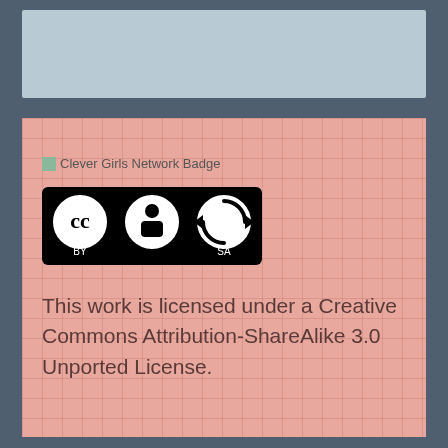[Figure (other): Light blue/gray panel at top of page]
[Figure (logo): Clever Girls Network Badge - small green image placeholder with text label]
[Figure (logo): Creative Commons Attribution-ShareAlike license badge showing CC BY SA icons]
This work is licensed under a Creative Commons Attribution-ShareAlike 3.0 Unported License.
9/11
allan
americas got talent
bbq
birthday
books
boys
celebrities
chandler